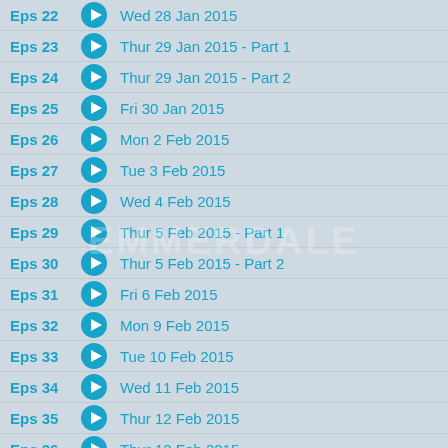Eps 22 - Wed 28 Jan 2015
Eps 23 - Thur 29 Jan 2015 - Part 1
Eps 24 - Thur 29 Jan 2015 - Part 2
Eps 25 - Fri 30 Jan 2015
Eps 26 - Mon 2 Feb 2015
Eps 27 - Tue 3 Feb 2015
Eps 28 - Wed 4 Feb 2015
Eps 29 - Thur 5 Feb 2015 - Part 1
Eps 30 - Thur 5 Feb 2015 - Part 2
Eps 31 - Fri 6 Feb 2015
Eps 32 - Mon 9 Feb 2015
Eps 33 - Tue 10 Feb 2015
Eps 34 - Wed 11 Feb 2015
Eps 35 - Thur 12 Feb 2015
Eps 36 - Thur 12 Feb 2015
Eps 37 - Fri 13 Feb 2015